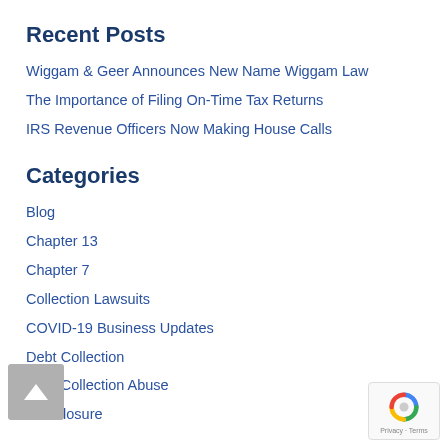Recent Posts
Wiggam & Geer Announces New Name Wiggam Law
The Importance of Filing On-Time Tax Returns
IRS Revenue Officers Now Making House Calls
Categories
Blog
Chapter 13
Chapter 7
Collection Lawsuits
COVID-19 Business Updates
Debt Collection
Debt Collection Abuse
Foreclosure